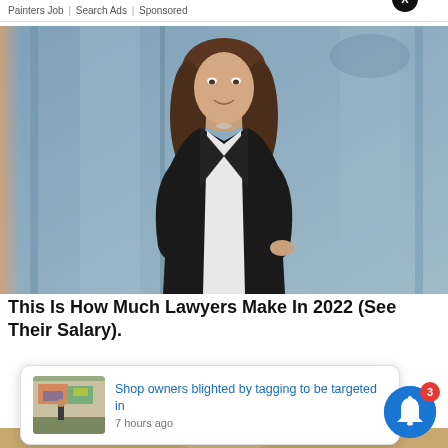Painters Job | Search Ads | Sponsored
[Figure (photo): Professional woman in black blazer standing in an office/glass building background]
This Is How Much Lawyers Make In 2022 (See Their Salary).
Shop owners blighted by tagging to be targeted in
7 hours ago
[Figure (photo): Partial view of a person at the bottom of the page, warm brown tones]